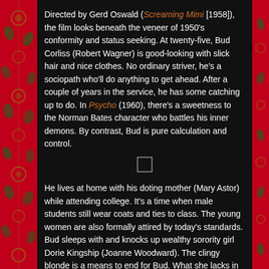Directed by Gerd Oswald (Screaming Mimi [1958]), the film looks beneath the veneer of 1950's conformity and status seeking. At twenty-five, Bud Corliss (Robert Wagner) is good-looking with slick hair and nice clothes. No ordinary striver, he's a sociopath who'll do anything to get ahead. After a couple of years in the service, he has some catching up to do. In Psycho (1960), there's a sweetness to the Norman Bates character who battles his inner demons. By contrast, Bud is pure calculation and control.
[Figure (other): Small empty rectangle/box centered on page]
He lives at home with his doting mother (Mary Astor) while attending college. It's a time when male students still wear coats and ties to class. The young women are also formally attired by today's standards. Bud sleeps with and knocks up wealthy sorority girl Dorie Kingship (Joanne Woodward). The clingy blonde is a means to end for Bud. What she lacks in looks and personality, she more than makes up for in stock options in daddy's copper mine